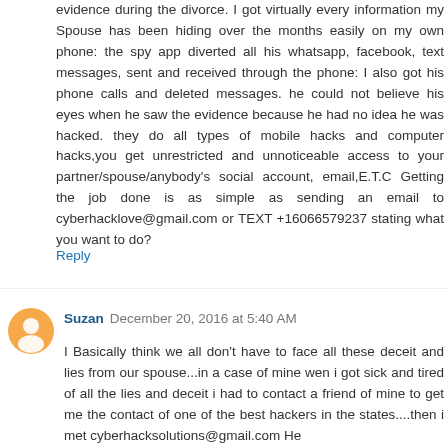evidence during the divorce. I got virtually every information my Spouse has been hiding over the months easily on my own phone: the spy app diverted all his whatsapp, facebook, text messages, sent and received through the phone: I also got his phone calls and deleted messages. he could not believe his eyes when he saw the evidence because he had no idea he was hacked. they do all types of mobile hacks and computer hacks,you get unrestricted and unnoticeable access to your partner/spouse/anybody's social account, email,E.T.C Getting the job done is as simple as sending an email to cyberhacklove@gmail.com or TEXT +16066579237 stating what you want to do?
Reply
Suzan  December 20, 2016 at 5:40 AM
I Basically think we all don't have to face all these deceit and lies from our spouse...in a case of mine wen i got sick and tired of all the lies and deceit i had to contact a friend of mine to get me the contact of one of the best hackers in the states....then i met cyberhacksolutions@gmail.com He